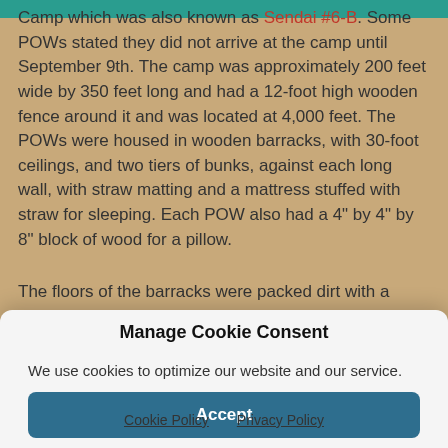Camp which was also known as Sendai #6-B. Some POWs stated they did not arrive at the camp until September 9th. The camp was approximately 200 feet wide by 350 feet long and had a 12-foot high wooden fence around it and was located at 4,000 feet. The POWs were housed in wooden barracks, with 30-foot ceilings, and two tiers of bunks, against each long wall, with straw matting and a mattress stuffed with straw for sleeping. Each POW also had a 4" by 4" by 8" block of wood for a pillow.
The floors of the barracks were packed dirt with a center
Manage Cookie Consent
We use cookies to optimize our website and our service.
Accept
Cookie Policy   Privacy Policy